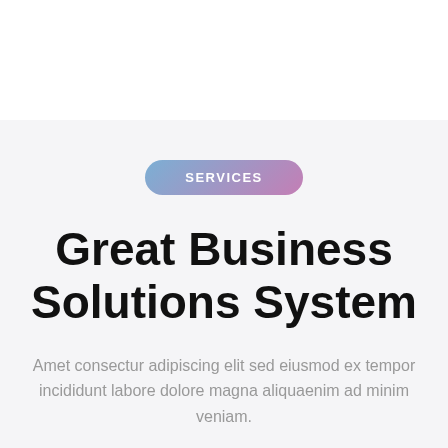SERVICES
Great Business Solutions System
Amet consectur adipiscing elit sed eiusmod ex tempor incididunt labore dolore magna aliquaenim ad minim veniam.